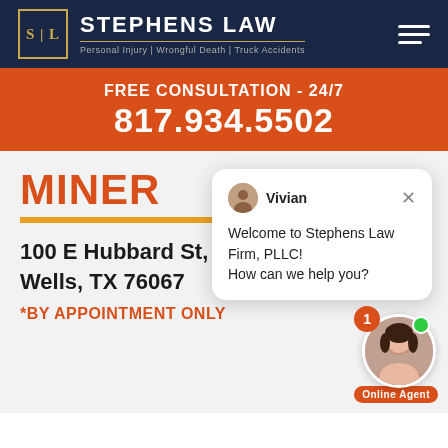[Figure (logo): Stephens Law firm logo with SL in gold bordered box, firm name and tagline on dark navy background]
FREE CONSULTATION - 24/7
817.934.5502
MINER
100 E Hubbard St, Suite C, Mineral Wells, TX 76067
*BY APPOINTMENT ONLY
[Figure (screenshot): Live chat popup from Vivian welcoming users to Stephens Law Firm, PLLC with online agent widget]